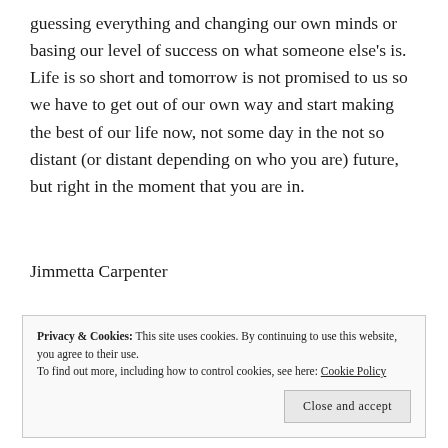guessing everything and changing our own minds or basing our level of success on what someone else's is. Life is so short and tomorrow is not promised to us so we have to get out of our own way and start making the best of our life now, not some day in the not so distant (or distant depending on who you are) future, but right in the moment that you are in.
Jimmetta Carpenter
Privacy & Cookies: This site uses cookies. By continuing to use this website, you agree to their use.
To find out more, including how to control cookies, see here: Cookie Policy